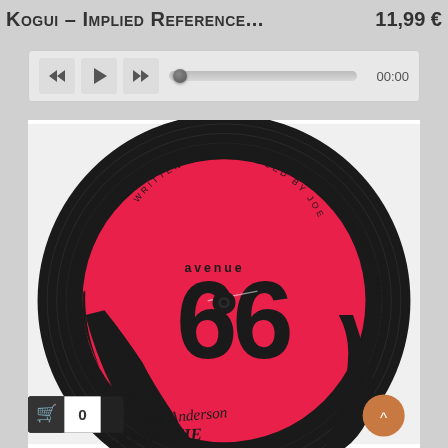Kogui – Implied Reference...
11,99 €
[Figure (screenshot): Audio player bar with rewind, play, fast-forward buttons, a progress slider at the start, and time display showing 00:00]
[Figure (photo): Vinyl record with hot-pink and black label reading 'avenue 66', side A, written and produced by Joey Anderson, with handwritten text 'Joey Anderson Above The Cherry Moon']